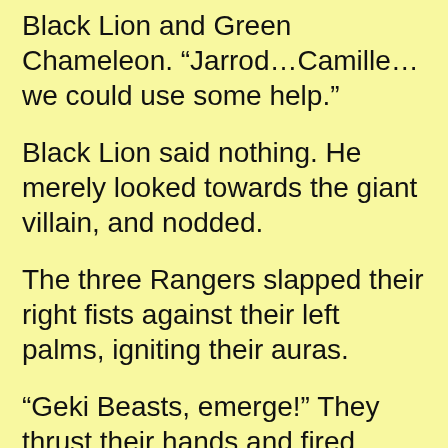Black Lion and Green Chameleon. “Jarrod…Camille…we could use some help.”
Black Lion said nothing. He merely looked towards the giant villain, and nodded.
The three Rangers slapped their right fists against their left palms, igniting their auras.
“Geki Beasts, emerge!” They thrust their hands and fired waves